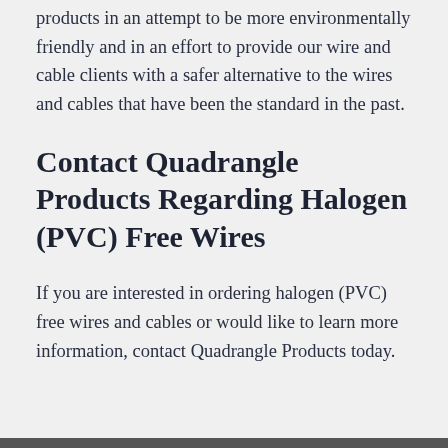products in an attempt to be more environmentally friendly and in an effort to provide our wire and cable clients with a safer alternative to the wires and cables that have been the standard in the past.
Contact Quadrangle Products Regarding Halogen (PVC) Free Wires
If you are interested in ordering halogen (PVC) free wires and cables or would like to learn more information, contact Quadrangle Products today.